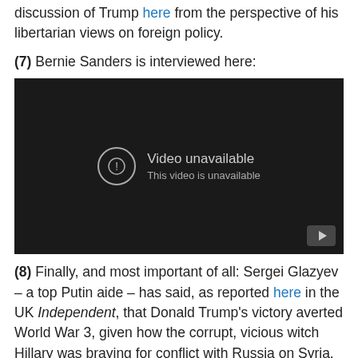discussion of Trump here from the perspective of his libertarian views on foreign policy.
(7) Bernie Sanders is interviewed here:
[Figure (screenshot): Embedded YouTube video player showing 'Video unavailable / This video is unavailable' error message on a dark background.]
(8) Finally, and most important of all: Sergei Glazyev – a top Putin aide – has said, as reported here in the UK Independent, that Donald Trump's victory averted World War 3, given how the corrupt, vicious witch Hillary was braying for conflict with Russia on Syria.